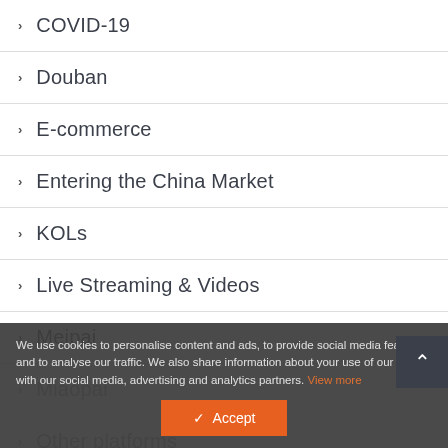COVID-19
Douban
E-commerce
Entering the China Market
KOLs
Live Streaming & Videos
Meipai
Miaopai
Other platforms
Overview
We use cookies to personalise content and ads, to provide social media features and to analyse our traffic. We also share information about your use of our site with our social media, advertising and analytics partners. View more